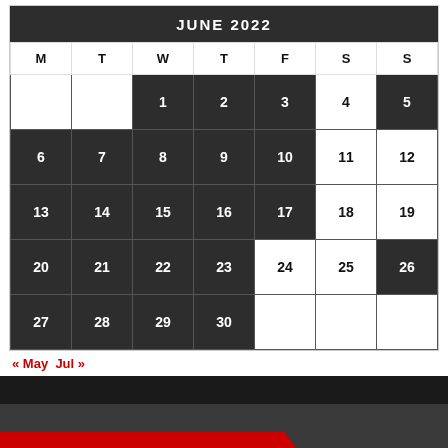| M | T | W | T | F | S | S |
| --- | --- | --- | --- | --- | --- | --- |
|  |  | 1 | 2 | 3 | 4 | 5 |
| 6 | 7 | 8 | 9 | 10 | 11 | 12 |
| 13 | 14 | 15 | 16 | 17 | 18 | 19 |
| 20 | 21 | 22 | 23 | 24 | 25 | 26 |
| 27 | 28 | 29 | 30 |  |  |  |
« May  Jul »
ABOUT OPN